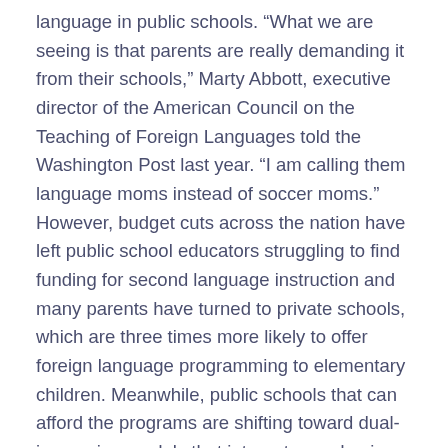language in public schools. “What we are seeing is that parents are really demanding it from their schools,” Marty Abbott, executive director of the American Council on the Teaching of Foreign Languages told the Washington Post last year. “I am calling them language moms instead of soccer moms.” However, budget cuts across the nation have left public school educators struggling to find funding for second language instruction and many parents have turned to private schools, which are three times more likely to offer foreign language programming to elementary children. Meanwhile, public schools that can afford the programs are shifting toward dual-immersion models that integrate academic courses with language acquisition.
Who benefits from bilingualism?